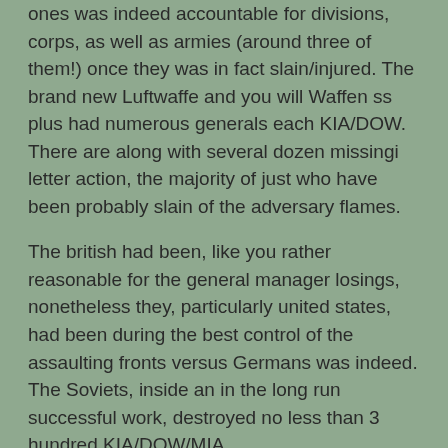ones was indeed accountable for divisions, corps, as well as armies (around three of them!) once they was in fact slain/injured. The brand new Luftwaffe and you will Waffen ss plus had numerous generals each KIA/DOW. There are along with several dozen missingi letter action, the majority of just who have been probably slain of the adversary flames.
The british had been, like you rather reasonable for the general manager losings, nonetheless they, particularly united states, had been during the best control of the assaulting fronts versus Germans was indeed. The Soviets, inside an in the long run successful work, destroyed no less than 3 hundred KIA/DOW/MIA.
Maybe really notoriously, it forgotten their Navy CinC, Yamamoto, so you can opponent sky action while on a top line inspection concert tour.
Now, when speaking of current Indian Wars, needless to